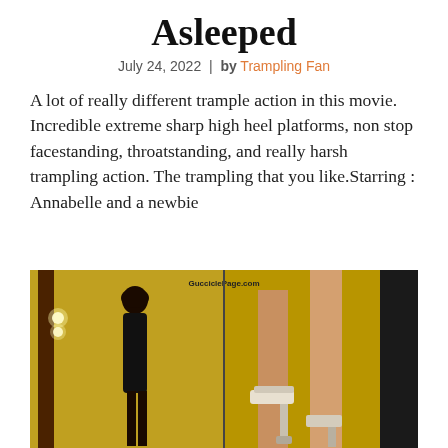Asleeped
July 24, 2022 | by Trampling Fan
A lot of really different trample action in this movie. Incredible extreme sharp high heel platforms, non stop facestanding, throatstanding, and really harsh trampling action. The trampling that you like.Starring : Annabelle and a newbie
[Figure (photo): Two panel photo: left panel shows a woman in black dress near a door in a yellow-walled room with lights visible; right panel shows legs and silver high heel platform shoes. Watermark: GucciclePage.com]